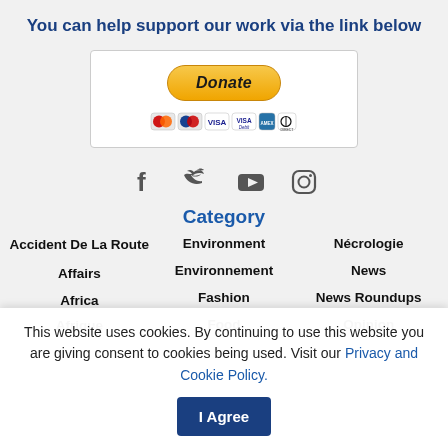You can help support our work via the link below
[Figure (other): PayPal Donate button with payment card icons (MasterCard, American Express, VISA, VISA Debit, Amex, Diners/Direct)]
[Figure (other): Social media icons: Facebook, Twitter, YouTube, Instagram]
Category
Accident De La Route
Affairs
Africa
Afrique
Environment
Environnement
Fashion
Food
Nécrologie
News
News Roundups
Opinion
This website uses cookies. By continuing to use this website you are giving consent to cookies being used. Visit our Privacy and Cookie Policy.